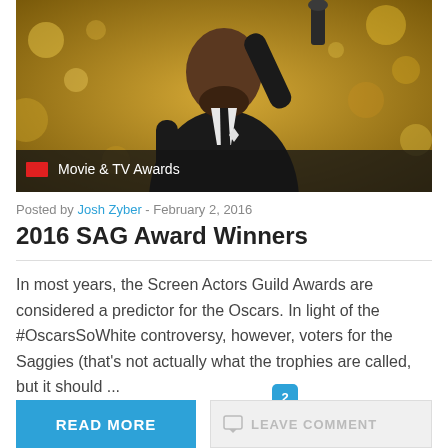[Figure (photo): Man in dark suit holding a trophy/award raised in one hand, standing at a podium. Golden bokeh background. Badge at bottom reads 'Movie & TV Awards' with red square icon.]
Posted by Josh Zyber - February 2, 2016
2016 SAG Award Winners
In most years, the Screen Actors Guild Awards are considered a predictor for the Oscars. In light of the #OscarsSoWhite controversy, however, voters for the Saggies (that’s not actually what the trophies are called, but it should ...